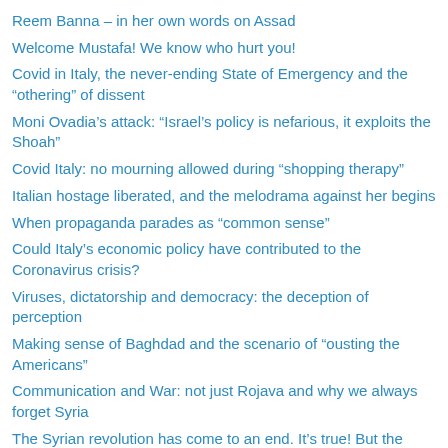Reem Banna – in her own words on Assad
Welcome Mustafa! We know who hurt you!
Covid in Italy, the never-ending State of Emergency and the “othering” of dissent
Moni Ovadia’s attack: “Israel’s policy is nefarious, it exploits the Shoah”
Covid Italy: no mourning allowed during “shopping therapy”
Italian hostage liberated, and the melodrama against her begins
When propaganda parades as “common sense”
Could Italy’s economic policy have contributed to the Coronavirus crisis?
Viruses, dictatorship and democracy: the deception of perception
Making sense of Baghdad and the scenario of “ousting the Americans”
Communication and War: not just Rojava and why we always forget Syria
The Syrian revolution has come to an end. It’s true! But the Syrian Cause has just begun
Turkish operation producing more sectarian hatred in Syria
Assessing Ken O’Keefe’s World Citizen Solution as at October 2019
Syrian “tourism”, taking a page from the Hasbara Handbook
Bashar al-Assad’s cousin calls regime “killers, criminals, and mass